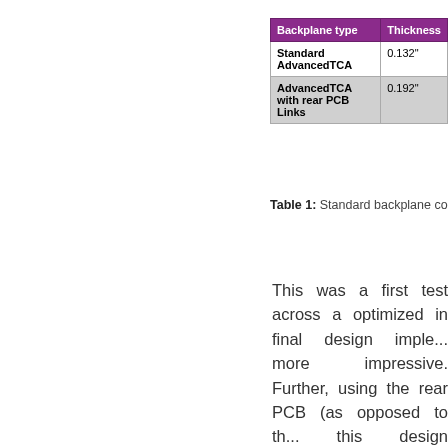| Backplane type | Thickness |
| --- | --- |
| Standard AdvancedTCA | 0.132" |
| AdvancedTCA with rear PCB Links | 0.192" |
Table 1: Standard backplane comp...
This was a first test across a optimized in final design imple... more impressive. Further, using the rear PCB (as opposed to th... this design technique could p... seriously impacting the costs.